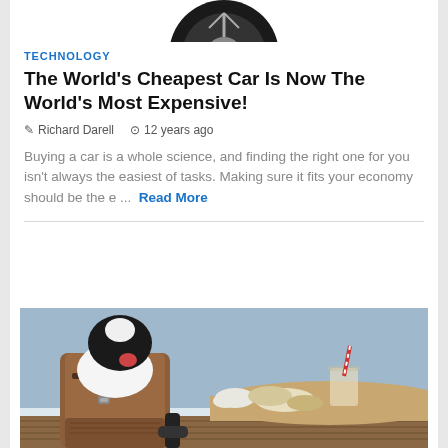[Figure (photo): Partial image of a car wheel/tire at the top of the page]
TECHNOLOGY
The World's Cheapest Car Is Now The World's Most Expensive!
Richard Darell   12 years ago
Buying a car is a whole science, and finding the right one for you isn't always the easiest of tasks. Making sure it fits your economy should be the e ...  Read More
[Figure (photo): A dog sitting at a table in a booster seat, with food items visible on the table, blue wall background]